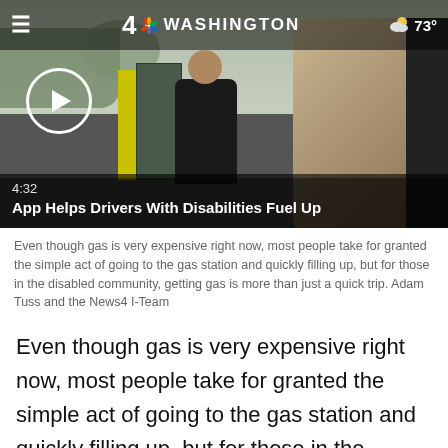[Figure (screenshot): NBC Washington news app screenshot showing a video thumbnail of a person in a wheelchair at a gas station, with the NBC 4 Washington logo and 73° weather in the top bar, a play button overlay, and the video title overlay at the bottom.]
4:32
App Helps Drivers With Disabilities Fuel Up
Even though gas is very expensive right now, most people take for granted the simple act of going to the gas station and quickly filling up, but for those in the disabled community, getting gas is more than just a quick trip. Adam Tuss and the News4 I-Team
Even though gas is very expensive right now, most people take for granted the simple act of going to the gas station and quickly filling up, but for those in the disabled community, getting gas is more than just a quick trip. It